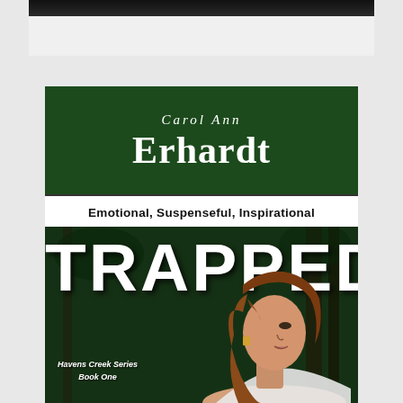[Figure (photo): Top partial image strip showing dark background - top portion of a book cover or photo cropped]
[Figure (illustration): Book cover for 'TRAPPED' by Carol Ann Erhardt. Dark green background at top with author name in white script and bold serif. White banner reads 'Emotional, Suspenseful, Inspirational' in bold. Large white bold 'TRAPPED' text over a dark forest background with a young woman with auburn hair looking over her shoulder. Bottom left text reads 'Havens Creek Series Book One'.]